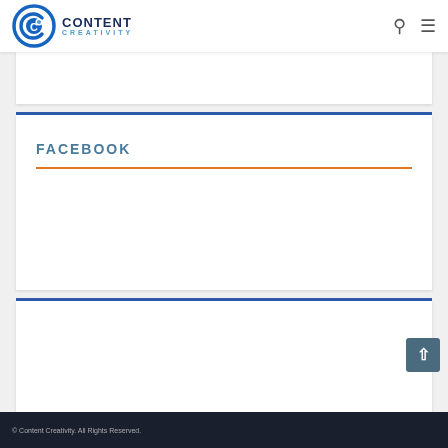Content Creativity
[Figure (logo): Content Creativity logo with circular C icon and text CONTENT CREATIVITY]
FACEBOOK
© Content Creativity. All Rights Reserved.